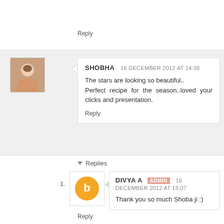Reply
SHOBHA   16 DECEMBER 2012 AT 14:36
The stars are looking so beautiful..
Perfect recipe for the season..loved your clicks and presentation.
Reply
Replies
DIVYA A  ADMIN  16 DECEMBER 2012 AT 15:07
Thank you so much Shoba ji :)
Reply